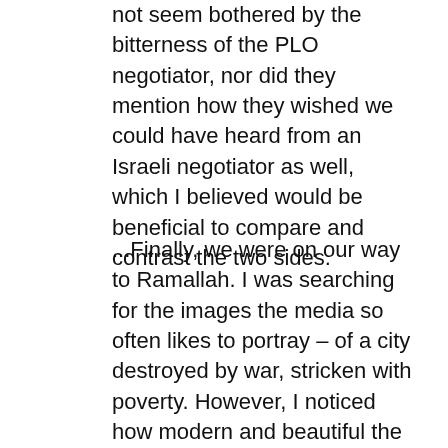not seem bothered by the bitterness of the PLO negotiator, nor did they mention how they wished we could have heard from an Israeli negotiator as well, which I believed would be beneficial to compare and contrast the two sides.
...Finally, we were on our way to Ramallah. I was searching for the images the media so often likes to portray – of a city destroyed by war, stricken with poverty. However, I noticed how modern and beautiful the city was, as we drove past sushi restaurants and five-star hotels. We went to the UN Office of the High Commissioner of Human Rights and met with a man who was not of Israeli or Palestinian descent, but Asian. This man had no relation to Israel or Palestine – just your typical civil servant.
He spoke about human rights abuses in the Palestinian territories. He lamented over Israeli settlers cutting down trees of Arab farmers, vandalizing mosques and other actions of the